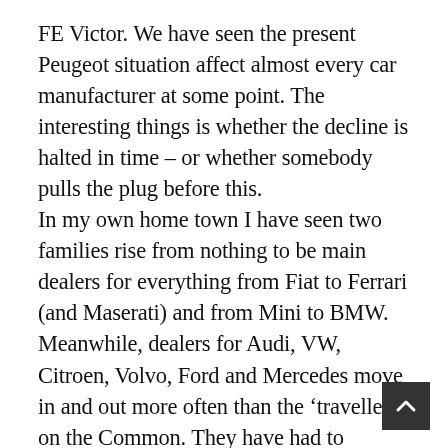FE Victor. We have seen the present Peugeot situation affect almost every car manufacturer at some point. The interesting things is whether the decline is halted in time – or whether somebody pulls the plug before this. In my own home town I have seen two families rise from nothing to be main dealers for everything from Fiat to Ferrari (and Maserati) and from Mini to BMW. Meanwhile, dealers for Audi, VW, Citroen, Volvo, Ford and Mercedes move in and out more often than the ‘travellers’ on the Common. They have had to change